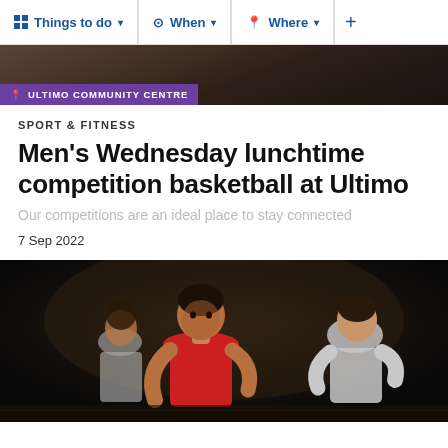Things to do  When  Where
ULTIMO COMMUNITY CENTRE
SPORT & FITNESS
Men's Wednesday lunchtime competition basketball at Ultimo
Our competitions are an ideal place to stay connected
7 Sep 2022
[Figure (photo): Basketball players competing in an indoor game, one player in a red jersey dribbling against defenders in white jerseys, dark background]